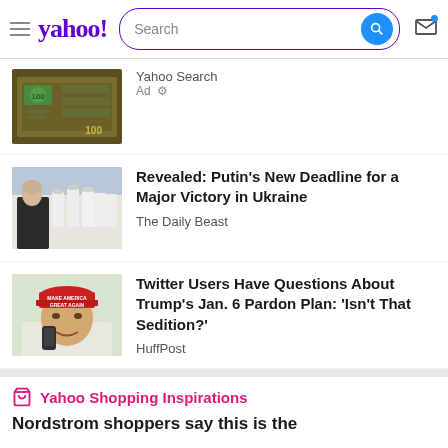yahoo! Search
[Figure (photo): Thumbnail of US dollar bills]
Yahoo Search
Ad
[Figure (photo): Putin walking with naval officers in white uniforms in background]
Revealed: Putin’s New Deadline for a Major Victory in Ukraine
The Daily Beast
[Figure (photo): Donald Trump in red MAKE AMERICA GREAT AGAIN hat, talking on phone]
Twitter Users Have Questions About Trump’s Jan. 6 Pardon Plan: ‘Isn’t That Sedition?’
HuffPost
Yahoo Shopping Inspirations
Nordstrom shoppers say this is the